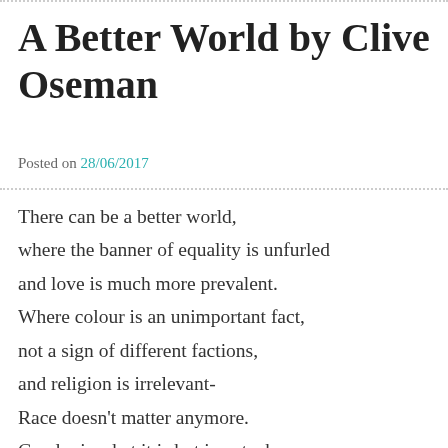A Better World by Clive Oseman
Posted on 28/06/2017
There can be a better world,
where the banner of equality is unfurled
and love is much more prevalent.
Where colour is an unimportant fact,
not a sign of different factions,
and religion is irrelevant-
Race doesn't matter anymore.
Gender is what it is but is not a bar,